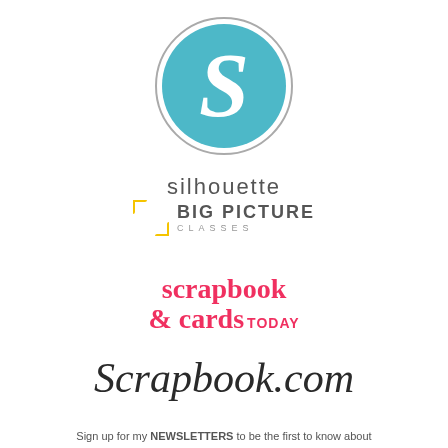[Figure (logo): Silhouette brand logo: teal circle with white cursive S, with the word 'silhouette' below in light gray thin lettering]
[Figure (logo): Big Picture Classes logo: yellow bracket/corner icon on left, 'BIG PICTURE' in bold dark gray capitals, 'CLASSES' in small spaced gray letters below]
[Figure (logo): Scrapbook & Cards Today logo: 'scrapbook' on first line and '& cards TODAY' on second line, all in bold pink/red serif font]
[Figure (logo): Scrapbook.com logo in large dark italic serif script font]
Sign up for my NEWSLETTERS to be the first to know about